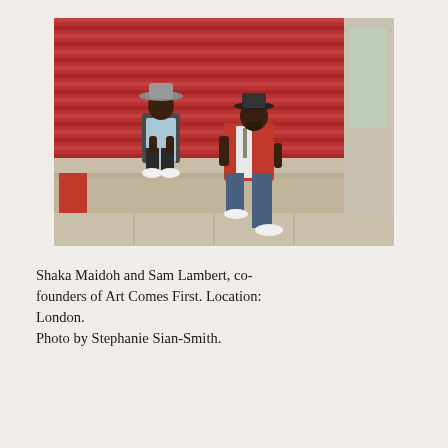[Figure (photo): Two Black men sitting on stone steps in front of a red corrugated metal shutter. The man on the left wears a wide-brim grey hat, grey vest, light blue shirt, dark shorts, and white sneakers. The man on the right wears a black fedora, a red cardigan, white shirt with tie, jeans, and white sneakers. Urban street photography setting in London.]
Shaka Maidoh and Sam Lambert, co-founders of Art Comes First. Location: London.
Photo by Stephanie Sian-Smith.